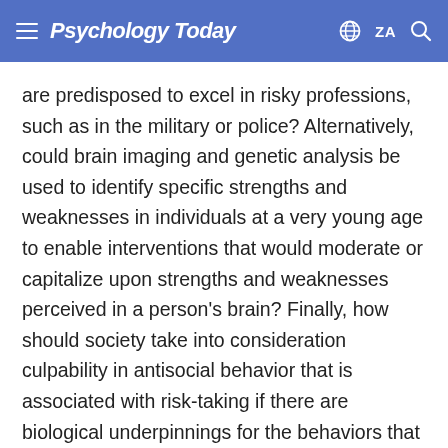Psychology Today  ZA
are predisposed to excel in risky professions, such as in the military or police? Alternatively, could brain imaging and genetic analysis be used to identify specific strengths and weaknesses in individuals at a very young age to enable interventions that would moderate or capitalize upon strengths and weaknesses perceived in a person’s brain? Finally, how should society take into consideration culpability in antisocial behavior that is associated with risk-taking if there are biological underpinnings for the behaviors that others in society may not have?
Maybe try bringing this scientific article with you as